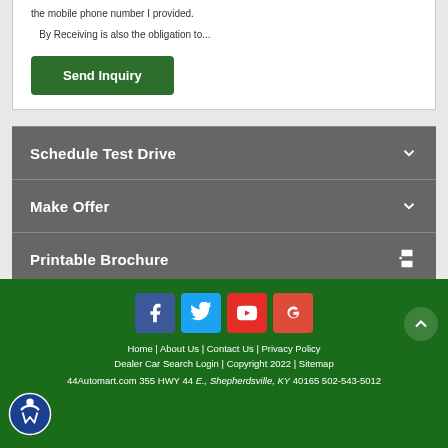the mobile phone number I provided. By Receiving is also the obligation to...
Send Inquiry
Schedule Test Drive
Make Offer
Printable Brochure
Home | About Us | Contact Us | Privacy Policy Dealer Car Search Login | Copyright 2022 | Sitemap 44Automart.com 355 HWY 44 E., Shepherdsville, KY 40165 502-543-5012